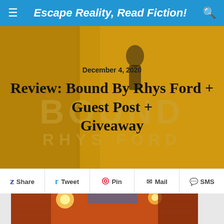Escape Reality, Read Fiction!
December 4, 2020
Review: Bound By Rhys Ford + Guest Post + Giveaway
[Figure (screenshot): Book cover hero image for 'Bound' by Rhys Ford with gold/yellow toned background showing a figure in an alley, with overlaid text BOUND and RHYS FORD]
Share  Tweet  Pin  Mail  SMS
[Figure (photo): Photo of a narrow alleyway with warm orange/red lighting, lanterns, and traditional architecture]